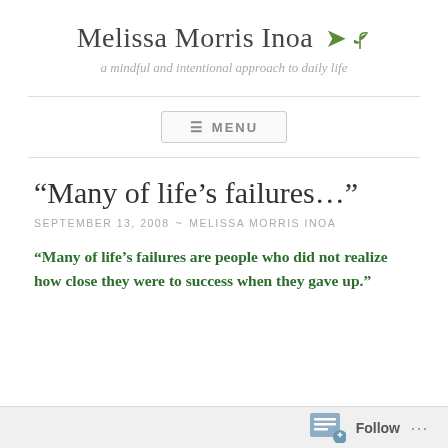Melissa Morris Inoa
a mindful and intentional approach to daily life
MENU
“Many of life’s failures…”
SEPTEMBER 13, 2008 ~ MELISSA MORRIS INOA
“Many of life’s failures are people who did not realize how close they were to success when they gave up.”
Follow ...